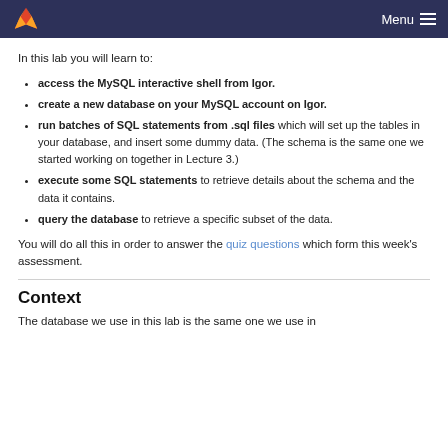Menu
In this lab you will learn to:
access the MySQL interactive shell from Igor.
create a new database on your MySQL account on Igor.
run batches of SQL statements from .sql files which will set up the tables in your database, and insert some dummy data. (The schema is the same one we started working on together in Lecture 3.)
execute some SQL statements to retrieve details about the schema and the data it contains.
query the database to retrieve a specific subset of the data.
You will do all this in order to answer the quiz questions which form this week's assessment.
Context
The database we use in this lab is the same one we use in...